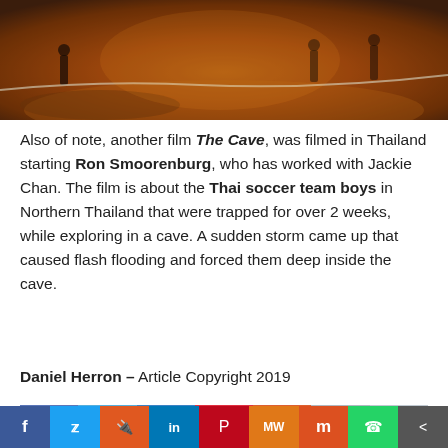[Figure (photo): Dark cave interior with people working, orange-lit ground]
Also of note, another film The Cave, was filmed in Thailand starting Ron Smoorenburg, who has worked with Jackie Chan. The film is about the Thai soccer team boys in Northern Thailand that were trapped for over 2 weeks, while exploring in a cave. A sudden storm came up that caused flash flooding and forced them deep inside the cave.
Daniel Herron – Article Copyright 2019
[Figure (infographic): Social sharing buttons: Facebook, Twitter, LinkedIn, Pinterest, Google+, Email, Print]
[Figure (infographic): Bottom share bar: Facebook, Twitter, Reddit, LinkedIn, Pinterest, MeWe, Mix, WhatsApp, Share]